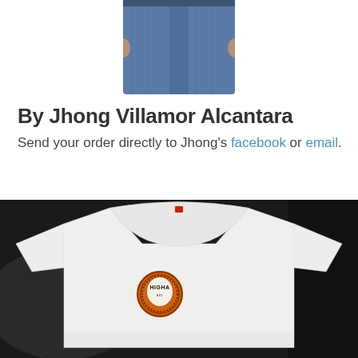[Figure (photo): Partial view of a person from the waist down wearing blue jeans, standing with arms at sides]
By Jhong Villamor Alcantara
Send your order directly to Jhong's facebook or email.
[Figure (photo): White t-shirt laid flat on a dark background with a small circular logo on the chest area reading HIGHA]